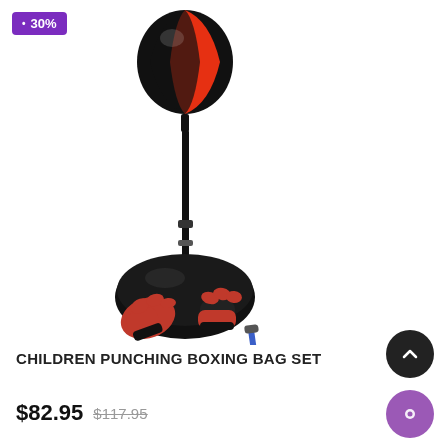[Figure (photo): Children punching boxing bag set on a stand with a black and red speed ball at the top, black base, red and black boxing gloves placed at the base, and a blue hand pump. A purple discount tag showing 30% is in the top left corner.]
30%
CHILDREN PUNCHING BOXING BAG SET
$82.95 $117.95